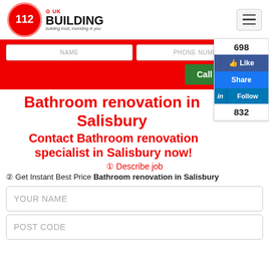[Figure (logo): 112 Building co.uk logo with red circle containing '112' and bold text 'BUILDING' with tagline 'building trust, investing in you']
NAME | PHONE NUMBER
Call me back!
[Figure (infographic): Social media sidebar with 698 likes, Like button, Share button, LinkedIn Follow button with 832 followers]
Bathroom renovation in Salisbury
Contact Bathroom renovation specialist in Salisbury now!
① Describe job
② Get Instant Best Price Bathroom renovation in Salisbury
YOUR NAME
POST CODE